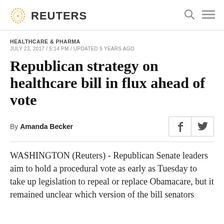REUTERS
HEALTHCARE & PHARMA
JULY 23, 2017 / 5:14 PM / UPDATED 5 YEARS AGO
Republican strategy on healthcare bill in flux ahead of vote
By Amanda Becker
WASHINGTON (Reuters) - Republican Senate leaders aim to hold a procedural vote as early as Tuesday to take up legislation to repeal or replace Obamacare, but it remained unclear which version of the bill senators